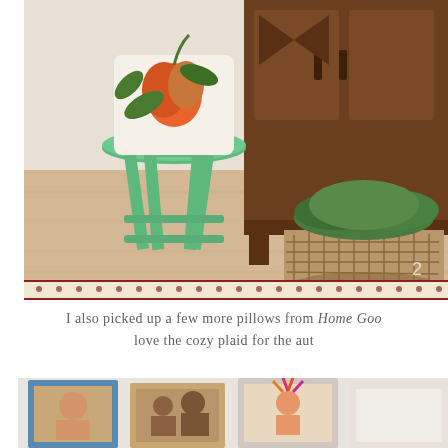[Figure (photo): Interior home decor photo showing a green painted wooden stool with a floral pillow on top, next to a dark wood cabinet, with a large woven basket containing green foliage on a light hardwood floor, with a patterned rug border visible at the bottom.]
I also picked up a few more pillows from Home Goods... love the cozy plaid for the aut...
[Figure (photo): Bottom portion of a home interior photo showing framed family photos and portraits arranged on a shelf or wall.]